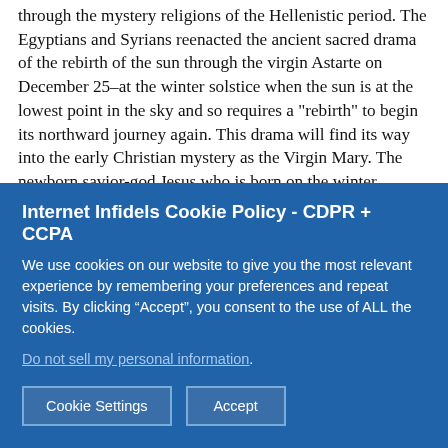through the mystery religions of the Hellenistic period. The Egyptians and Syrians reenacted the ancient sacred drama of the rebirth of the sun through the virgin Astarte on December 25–at the winter solstice when the sun is at the lowest point in the sky and so requires a "rebirth" to begin its northward journey again. This drama will find its way into the early Christian mystery as the Virgin Mary. The newborn savior-god Jesus who is born on the winter solstice will behave similarly to Astarte's newborn and become a sacrifice for the benefit and immortality of the Goddess's followers. Christian iconography will preserve her in her dove form with "seven rays emanating from the dove of the Holy Ghost: an image that went back to some of the most primitive manifestations of the Goddess (Walker, 1983, p. 253).
Internet Infidels Cookie Policy - CDPR + CCPA
We use cookies on our website to give you the most relevant experience by remembering your preferences and repeat visits. By clicking “Accept”, you consent to the use of ALL the cookies.
Do not sell my personal information.
Cookie Settings   Accept